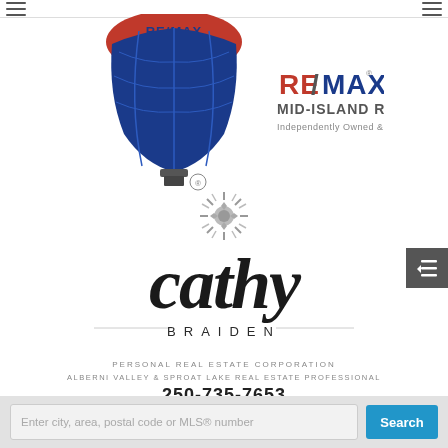[Figure (logo): RE/MAX hot air balloon logo with red top and blue balloon body, and RE/MAX Mid-Island Realty text with 'Independently Owned & Operated' subtitle]
[Figure (logo): Cathy Braiden personal branding logo with decorative sunburst/snowflake emblem above cursive 'cathy' script and 'BRAIDEN' in spaced capitals]
PERSONAL REAL ESTATE CORPORATION
ALBERNI VALLEY & SPROAT LAKE REAL ESTATE PROFESSIONAL
250-735-7653
Enter city, area, postal code or MLS® number
Search